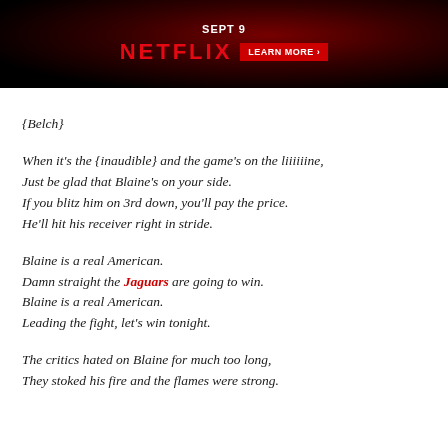[Figure (illustration): Netflix promotional banner with dark red background, showing 'SEPT 9', 'NETFLIX' in red letters, and a 'LEARN MORE >' button]
{Belch}
When it's the {inaudible} and the game's on the liiiiiine,
Just be glad that Blaine's on your side.
If you blitz him on 3rd down, you'll pay the price.
He'll hit his receiver right in stride.
Blaine is a real American.
Damn straight the Jaguars are going to win.
Blaine is a real American.
Leading the fight, let's win tonight.
The critics hated on Blaine for much too long,
They stoked his fire and the flames were strong.